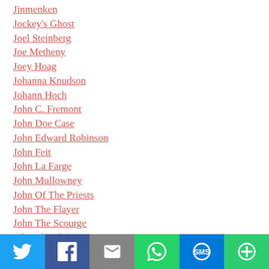Jinmenken
Jockey's Ghost
Joel Steinberg
Joe Metheny
Joey Hoag
Johanna Knudson
Johann Hoch
John C. Fremont
John Doe Case
John Edward Robinson
John Feit
John La Farge
John Mullowney
John Of The Priests
John The Flayer
John The Scourge
John The Skinner